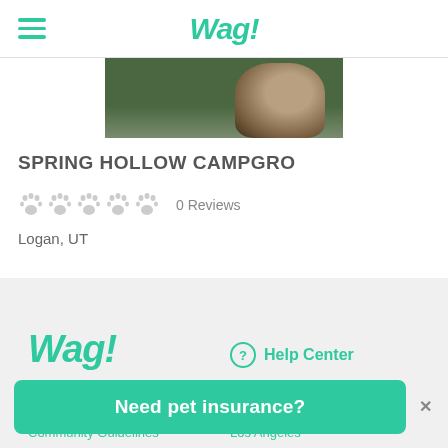Wag!
[Figure (photo): Photo of a dog on grass, partially cropped at top]
SPRING HOLLOW CAMPGRO
0 Reviews
Logan, UT
[Figure (logo): Wag! logo in green italic bold text]
Help Center
About Wag!
Top Wag! cities
Community Guidelines
Los Angeles
Need pet insurance?